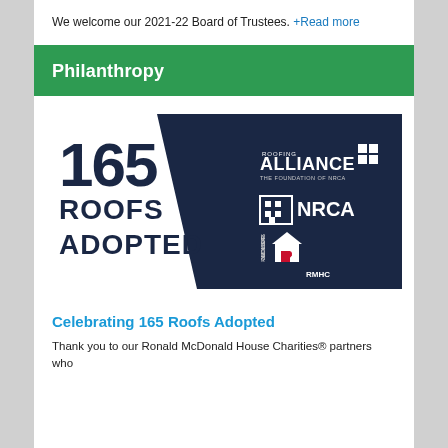We welcome our 2021-22 Board of Trustees. +Read more
Philanthropy
[Figure (infographic): Infographic showing '165 Roofs Adopted' with Roofing Alliance (The Foundation of NRCA), NRCA, and Ronald McDonald House Charities logos on a dark navy background with a diagonal design.]
Celebrating 165 Roofs Adopted
Thank you to our Ronald McDonald House Charities® partners who